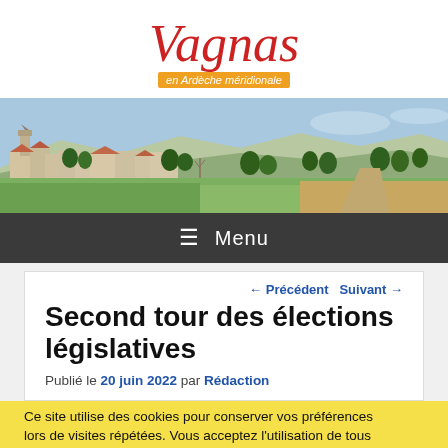[Figure (logo): Vagnas en Ardèche méridionale website logo with red italic serif text and orange subtitle bar]
[Figure (photo): Panoramic landscape photo of the village of Vagnas in southern Ardèche, showing stone buildings, church tower, trees, fields and mountains in the background]
≡ Menu
← Précédent  Suivant →
Second tour des élections législatives
Publié le 20 juin 2022 par Rédaction
Ce site utilise des cookies pour conserver vos préférences lors de visites répétées. Vous acceptez l'utilisation de tous